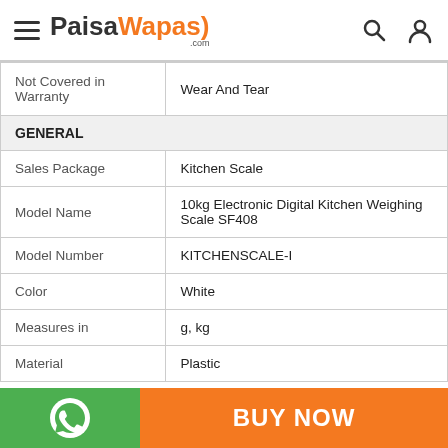PaisaWapas.com
| Attribute | Value |
| --- | --- |
| Not Covered in Warranty | Wear And Tear |
| GENERAL |  |
| Sales Package | Kitchen Scale |
| Model Name | 10kg Electronic Digital Kitchen Weighing Scale SF408 |
| Model Number | KITCHENSCALE-I |
| Color | White |
| Measures in | g, kg |
| Material | Plastic |
BUY NOW